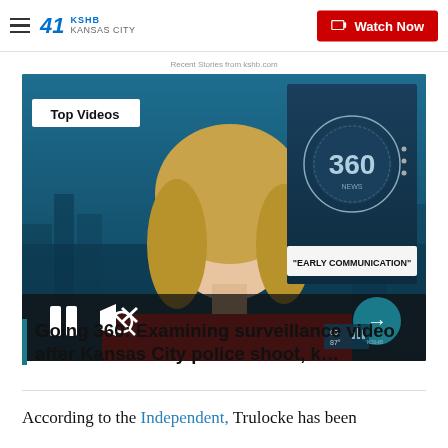KSHB 41 Kansas City | Watch Now
Recent Stories from kshb.com
[Figure (screenshot): News broadcast screenshot showing a female news anchor in a red jacket with 'Top Videos' label, '360' graphic, and '"EARLY COMMUNICATION"' chyron. Video player controls (pause, mute) and a next arrow are visible. Weather info shows 60/87° KSHB.]
Going 360: Examining surveillance video after Kansas City police shoot, k…
According to the Independent, Trulocke has been